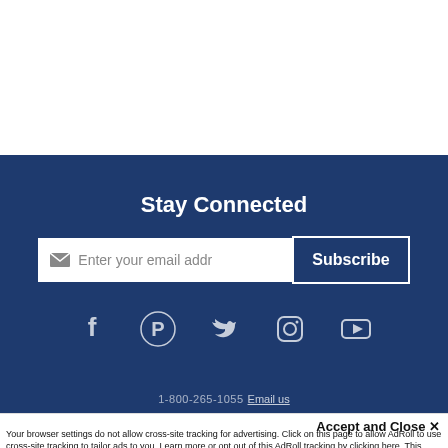Stay Connected
[Figure (infographic): Email subscription input field with envelope icon and placeholder text 'Enter your email addr', followed by a Subscribe button]
[Figure (infographic): Social media icons row: Facebook, Pinterest, Twitter, Instagram, YouTube]
1-800-205-1055Email us
Accept and Close ✕
Your browser settings do not allow cross-site tracking for advertising. Click on this page to allow AdRoll to use cross-site tracking to tailor ads to you. Learn more or opt out of this AdRoll tracking by clicking here. This message only appears once.